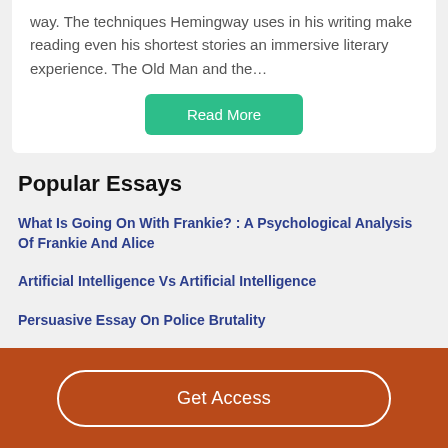way. The techniques Hemingway uses in his writing make reading even his shortest stories an immersive literary experience. The Old Man and the…
Read More
Popular Essays
What Is Going On With Frankie? : A Psychological Analysis Of Frankie And Alice
Artificial Intelligence Vs Artificial Intelligence
Persuasive Essay On Police Brutality
Get Access